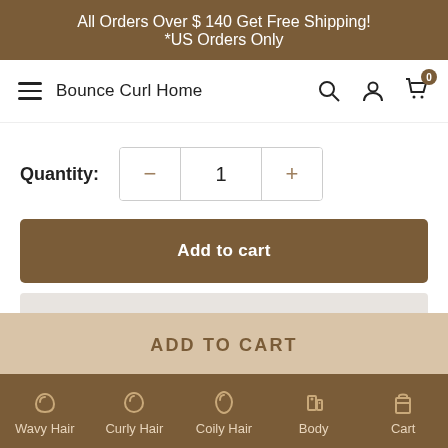All Orders Over $ 140 Get Free Shipping!
*US Orders Only
Bounce Curl Home
Quantity: 1
Add to cart
ADD TO CART
Wavy Hair  Curly Hair  Coily Hair  Body  Cart